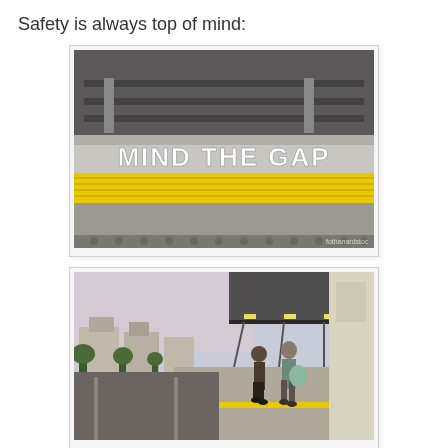Safety is always top of mind:
[Figure (photo): Close-up photograph of a London Underground platform edge showing 'MIND THE GAP' written in white text on a yellow and grey surface, with railway tracks visible above.]
[Figure (photo): Photograph of a London Underground station platform at dusk with two people standing near the edge waiting for a train, residential houses and a canopy visible in the background.]